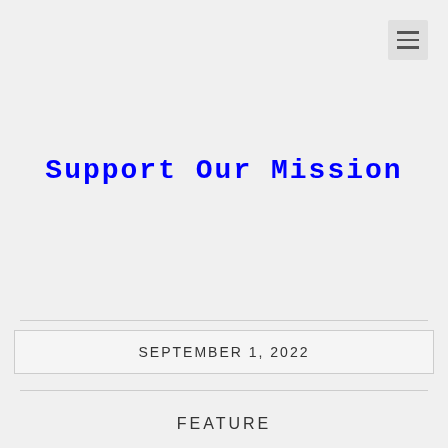[Figure (other): Hamburger menu icon button in top-right corner]
Support Our Mission
SEPTEMBER 1, 2022
FEATURE